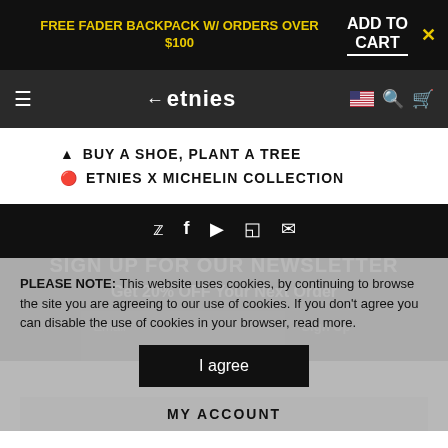FREE FADER BACKPACK W/ ORDERS OVER $100
ADD TO CART
[Figure (logo): Etnies logo with left-arrow and brand name in white on dark background]
BUY A SHOE, PLANT A TREE
ETNIES X MICHELIN COLLECTION
[Figure (infographic): Social media icons row: Twitter, Facebook, YouTube, Instagram, Email]
SIGN UP FOR OUR NEWSLETTER
Get 20% OFF Your Next Order
Email
Sign Up
PLEASE NOTE: This website uses cookies, by continuing to browse the site you are agreeing to our use of cookies. If you don't agree you can disable the use of cookies in your browser, read more.
I agree
MY ACCOUNT